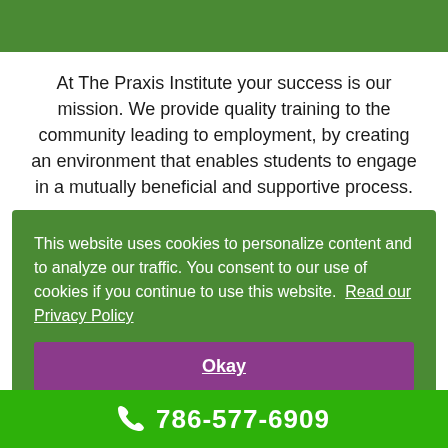At The Praxis Institute your success is our mission. We provide quality training to the community leading to employment, by creating an environment that enables students to engage in a mutually beneficial and supportive process.
This website uses cookies to personalize content and to analyze our traffic. You consent to our use of cookies if you continue to use this website. Read our Privacy Policy
Okay
786-577-6909